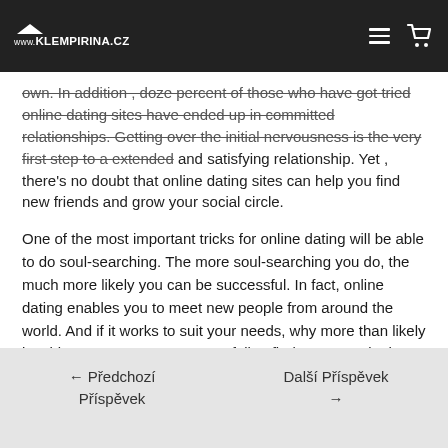www.KLEMPIRINA.CZ [navigation bar with logo, hamburger menu, cart icon]
own. In addition , doze percent of those who have got tried online dating sites have ended up in committed relationships. Getting over the initial nervousness is the very first step to a extended and satisfying relationship. Yet , there’s no doubt that online dating sites can help you find new friends and grow your social circle.
One of the most important tricks for online dating will be able to do soul-searching. The more soul-searching you do, the much more likely you can be successful. In fact, online dating enables you to meet new people from around the world. And if it works to suit your needs, why more than likely it achieve success? It’s easy to fail to find a way out in the marine of alternatives! Please remember to enjoy the procedure!
← Předchozí Příspěvek   Další Příspěvek →